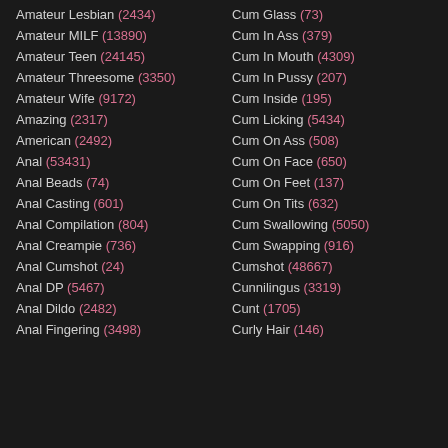Amateur Lesbian (2434)
Amateur MILF (13890)
Amateur Teen (24145)
Amateur Threesome (3350)
Amateur Wife (9172)
Amazing (2317)
American (2492)
Anal (53431)
Anal Beads (74)
Anal Casting (601)
Anal Compilation (804)
Anal Creampie (736)
Anal Cumshot (24)
Anal DP (5467)
Anal Dildo (2482)
Anal Fingering (3498)
Cum Glass (73)
Cum In Ass (379)
Cum In Mouth (4309)
Cum In Pussy (207)
Cum Inside (195)
Cum Licking (5434)
Cum On Ass (508)
Cum On Face (650)
Cum On Feet (137)
Cum On Tits (632)
Cum Swallowing (5050)
Cum Swapping (916)
Cumshot (48667)
Cunnilingus (3319)
Cunt (1705)
Curly Hair (146)